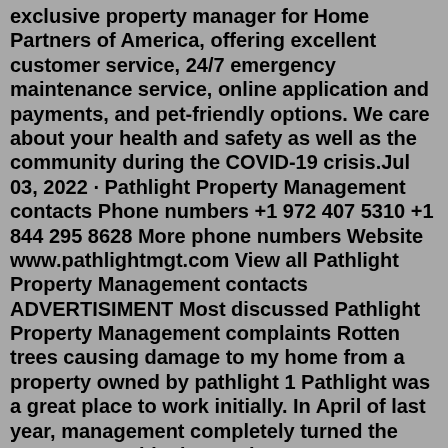exclusive property manager for Home Partners of America, offering excellent customer service, 24/7 emergency maintenance service, online application and payments, and pet-friendly options. We care about your health and safety as well as the community during the COVID-19 crisis.Jul 03, 2022 · Pathlight Property Management contacts Phone numbers +1 972 407 5310 +1 844 295 8628 More phone numbers Website www.pathlightmgt.com View all Pathlight Property Management contacts ADVERTISIMENT Most discussed Pathlight Property Management complaints Rotten trees causing damage to my home from a property owned by pathlight 1 Pathlight was a great place to work initially. In April of last year, management completely turned the company upside down. There were so many changes it was difficult for the employees to keep up. Management has the ability to cuss and completely disrespect employees and HR does nothing once reported. Pathlight Property Management Our